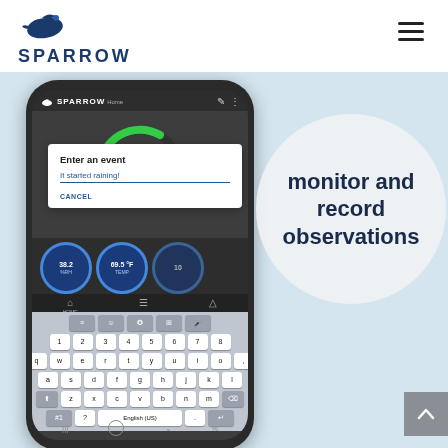[Figure (logo): Sparrow logo with bird icon and SPARROW text in dark blue, hamburger menu icon top right]
[Figure (screenshot): Smartphone displaying the Sparrow weather app with a dialog box showing 'Enter an event' with text 'It started raining!' and a keyboard visible]
monitor and record observations